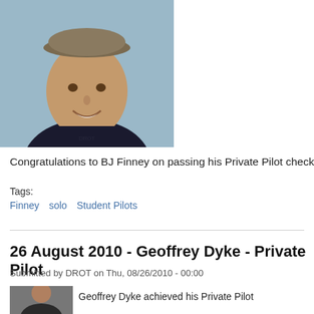[Figure (photo): Headshot of BJ Finney, a young man wearing a cap on his head pushed back, dark shirt, smiling, in front of a light blue/teal background]
Congratulations to BJ Finney on passing his Private Pilot checkride on 18 De
Tags:
Finney   solo   Student Pilots
26 August 2010 - Geoffrey Dyke - Private Pilot
Submitted by DROT on Thu, 08/26/2010 - 00:00
[Figure (photo): Partial headshot of Geoffrey Dyke at bottom of page]
Geoffrey Dyke achieved his Private Pilot